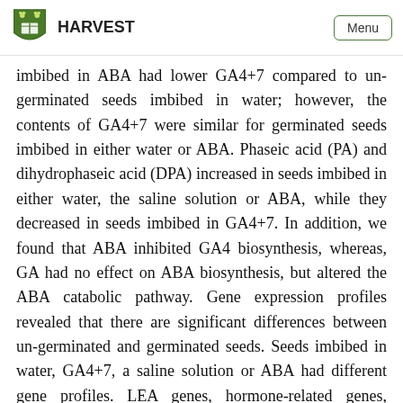HARVEST | Menu
imbibed in ABA had lower GA4+7 compared to un-germinated seeds imbibed in water; however, the contents of GA4+7 were similar for germinated seeds imbibed in either water or ABA. Phaseic acid (PA) and dihydrophaseic acid (DPA) increased in seeds imbibed in either water, the saline solution or ABA, while they decreased in seeds imbibed in GA4+7. In addition, we found that ABA inhibited GA4 biosynthesis, whereas, GA had no effect on ABA biosynthesis, but altered the ABA catabolic pathway. Gene expression profiles revealed that there are significant differences between un-germinated and germinated seeds. Seeds imbibed in water, GA4+7, a saline solution or ABA had different gene profiles. LEA genes, hormone-related genes, hydrolase-related genes and specific seed germination-related genes were